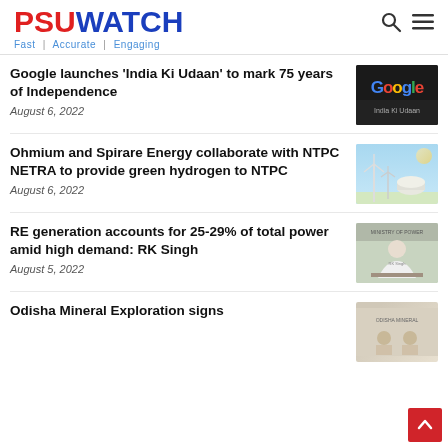PSUWATCH — Fast | Accurate | Engaging
Google launches 'India Ki Udaan' to mark 75 years of Independence
August 6, 2022
[Figure (photo): Google logo on dark building exterior]
Ohmium and Spirare Energy collaborate with NTPC NETRA to provide green hydrogen to NTPC
August 6, 2022
[Figure (photo): Wind turbines and hydrogen storage tanks against blue sky]
RE generation accounts for 25-29% of total power amid high demand: RK Singh
August 5, 2022
[Figure (photo): RK Singh seated at desk with Ministry of Power backdrop]
Odisha Mineral Exploration signs
[Figure (photo): Officials at signing ceremony]